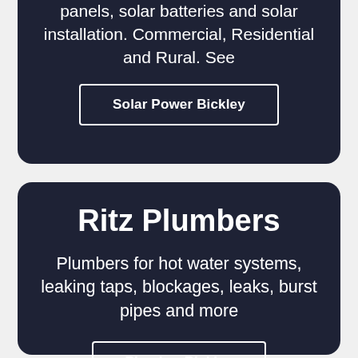panels, solar batteries and solar installation. Commercial, Residential and Rural. See
Solar Power Bickley
Ritz Plumbers
Plumbers for hot water systems, leaking taps, blockages, leaks, burst pipes and more
Plumber Bickley